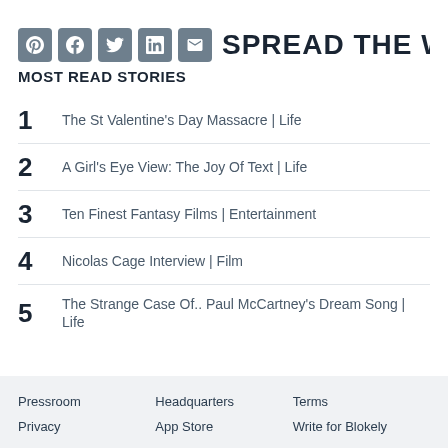SPREAD THE WO…
MOST READ STORIES
1  The St Valentine's Day Massacre | Life
2  A Girl's Eye View: The Joy Of Text | Life
3  Ten Finest Fantasy Films | Entertainment
4  Nicolas Cage Interview | Film
5  The Strange Case Of.. Paul McCartney's Dream Song | Life
Pressroom   Headquarters   Terms   Privacy   App Store   Write for Blokely